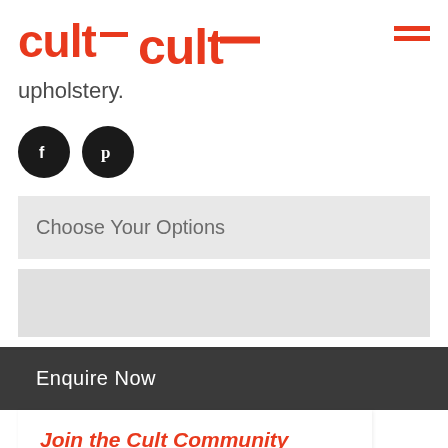cult
upholstery.
[Figure (logo): Two black circular social media icons: Facebook (f) and Pinterest (p)]
Choose Your Options
Enquire Now
Join the Cult Community
Specifications